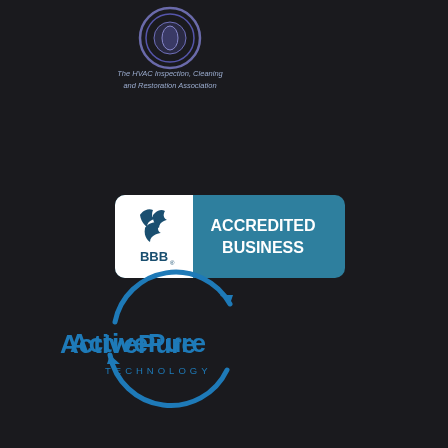[Figure (logo): HVAC Inspection, Cleaning and Restoration Association logo with circular emblem and text 'The HVAC Inspection, Cleaning and Restoration Association']
[Figure (logo): BBB Accredited Business badge with teal background, white/dark BBB flame logo on left and text 'ACCREDITED BUSINESS' on right]
[Figure (logo): ActivePure Technology logo with blue circular arc design and blue text 'ActivePure TECHNOLOGY']